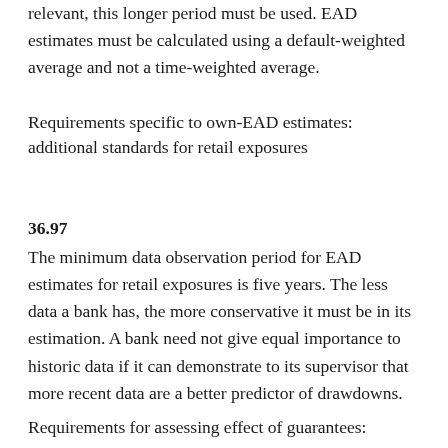relevant, this longer period must be used. EAD estimates must be calculated using a default-weighted average and not a time-weighted average.
Requirements specific to own-EAD estimates: additional standards for retail exposures
36.97
The minimum data observation period for EAD estimates for retail exposures is five years. The less data a bank has, the more conservative it must be in its estimation. A bank need not give equal importance to historic data if it can demonstrate to its supervisor that more recent data are a better predictor of drawdowns.
Requirements for assessing effect of guarantees: